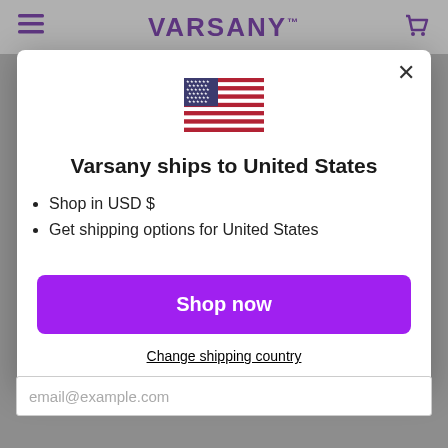[Figure (screenshot): Website navigation bar with hamburger menu icon on left, VARSANY logo in purple center, cart icon on right]
[Figure (illustration): United States flag emoji/icon]
Varsany ships to United States
Shop in USD $
Get shipping options for United States
Shop now
Change shipping country